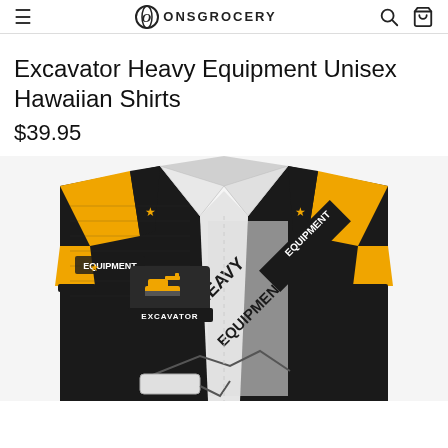ONSGROCERY
Excavator Heavy Equipment Unisex Hawaiian Shirts
$39.95
[Figure (photo): Product photo of an Excavator Heavy Equipment Unisex Hawaiian Shirt. The shirt is primarily black with yellow/gold stripe sleeves, features diamond plate metallic texture, an excavator graphic with 'EXCAVATOR' text, and large 'HEAVY EQUIPMENT' text on the front. The collar area is white/silver metallic.]